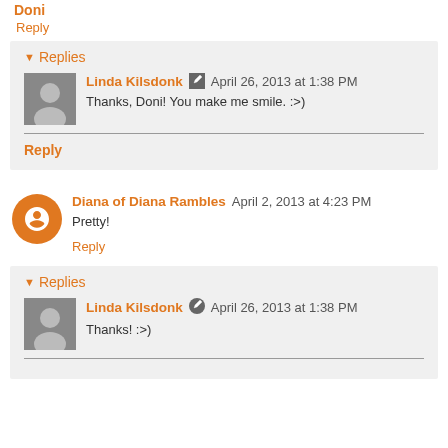Doni
Reply
Replies
Linda Kilsdonk  April 26, 2013 at 1:38 PM
Thanks, Doni! You make me smile. :>)
Reply
Diana of Diana Rambles  April 2, 2013 at 4:23 PM
Pretty!
Reply
Replies
Linda Kilsdonk  April 26, 2013 at 1:38 PM
Thanks! :>)